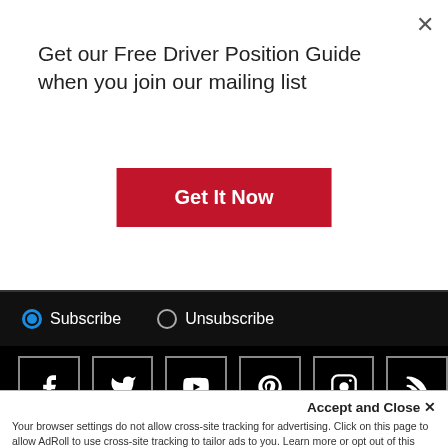Get our Free Driver Position Guidewhen you join our mailing list
Get It Now
Subscribe   Unsubscribe
[Figure (infographic): Social media icons: Facebook, Twitter, YouTube, Pinterest, Instagram, RSS]
Copyright 2022 Ricmotech LLC. All Rights Reserved
[Figure (infographic): Cookie consent notice with cookie icon and Have a cookie text, payment logos, BBB accredited business logo]
Accept and Close ×
Your browser settings do not allow cross-site tracking for advertising. Click on this page to allow AdRoll to use cross-site tracking to tailor ads to you. Learn more or opt out of this AdRoll tracking by clicking here. This message only appears once.